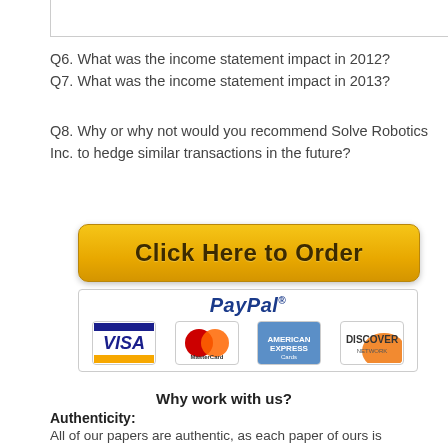Q6. What was the income statement impact in 2012?
Q7. What was the income statement impact in 2013?
Q8. Why or why not would you recommend Solve Robotics Inc. to hedge similar transactions in the future?
[Figure (other): Orange 'Click Here to Order' button]
[Figure (other): PayPal payment methods banner with Visa, MasterCard, American Express, Discover logos]
Why work with us?
Authenticity: All of our papers are authentic, as each paper of ours is composed according to your unique requirements.
Confidentiality: We value you data. Our company is